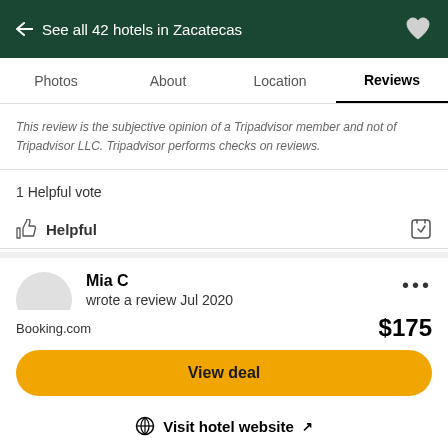← See all 42 hotels in Zacatecas
Photos   About   Location   Reviews
This review is the subjective opinion of a Tripadvisor member and not of Tripadvisor LLC. Tripadvisor performs checks on reviews.
1 Helpful vote
Helpful
Mia C
wrote a review Jul 2020
New Castle, Colorado
14 contributions • 25 helpful votes
Booking.com   $175
View deal
Visit hotel website ↗